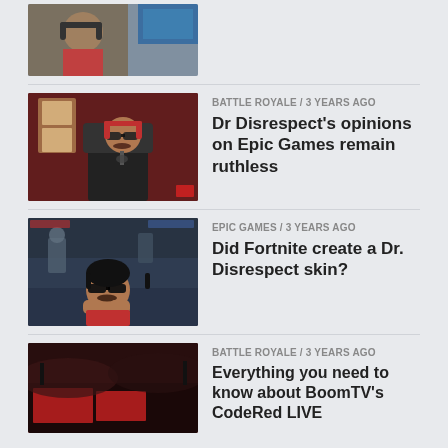[Figure (screenshot): Partial thumbnail of a gaming streamer with headset, cropped at top]
[Figure (screenshot): Thumbnail of Dr Disrespect with sunglasses and red headset in a gaming chair]
BATTLE ROYALE / 3 years ago
Dr Disrespect's opinions on Epic Games remain ruthless
[Figure (screenshot): Thumbnail showing Dr Disrespect reacting with hands on face overlaid on a Fortnite game scene]
EPIC GAMES / 3 years ago
Did Fortnite create a Dr. Disrespect skin?
[Figure (screenshot): Partial thumbnail of a red-themed gaming graphic partially cropped at bottom]
BATTLE ROYALE / 3 years ago
Everything you need to know about BoomTV's CodeRed LIVE